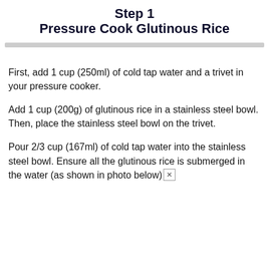Step 1
Pressure Cook Glutinous Rice
First, add 1 cup (250ml) of cold tap water and a trivet in your pressure cooker.
Add 1 cup (200g) of glutinous rice in a stainless steel bowl. Then, place the stainless steel bowl on the trivet.
Pour 2/3 cup (167ml) of cold tap water into the stainless steel bowl. Ensure all the glutinous rice is submerged in the water (as shown in photo below)